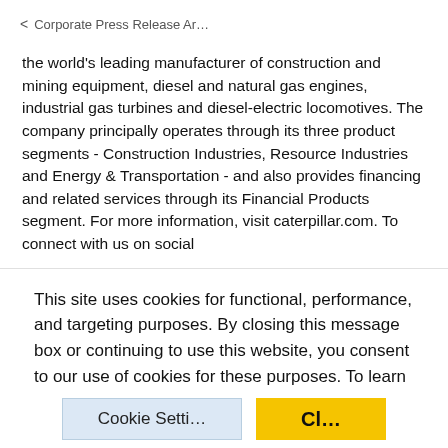< Corporate Press Release Ar…
the world's leading manufacturer of construction and mining equipment, diesel and natural gas engines, industrial gas turbines and diesel-electric locomotives. The company principally operates through its three product segments - Construction Industries, Resource Industries and Energy & Transportation - and also provides financing and related services through its Financial Products segment. For more information, visit caterpillar.com. To connect with us on social
This site uses cookies for functional, performance, and targeting purposes. By closing this message box or continuing to use this website, you consent to our use of cookies for these purposes. To learn more or to manage cookies at any time, select the "Cookie Settings" button.
Cookie Setti…   Cl…